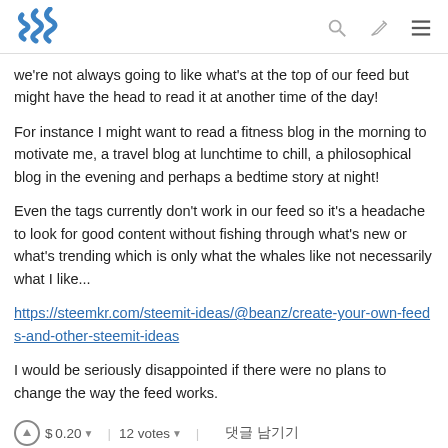Steemit logo and navigation icons
we're not always going to like what's at the top of our feed but might have the head to read it at another time of the day!
For instance I might want to read a fitness blog in the morning to motivate me, a travel blog at lunchtime to chill, a philosophical blog in the evening and perhaps a bedtime story at night!
Even the tags currently don't work in our feed so it's a headache to look for good content without fishing through what's new or what's trending which is only what the whales like not necessarily what I like...
https://steemkr.com/steemit-ideas/@beanz/create-your-own-feeds-and-other-steemit-ideas
I would be seriously disappointed if there were no plans to change the way the feed works.
$ 0.20  |  12 votes  |  댓글 남기기
karenmckersie  74  · 6년 전